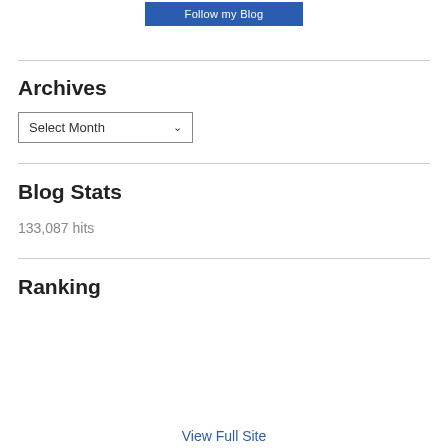[Figure (other): Follow my Blog button at top center]
Archives
[Figure (other): Select Month dropdown widget]
Blog Stats
133,087 hits
Ranking
View Full Site